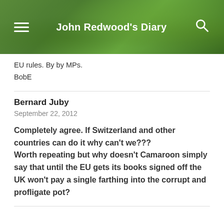John Redwood's Diary
EU rules. By by MPs.
BobE
Bernard Juby
September 22, 2012
Completely agree. If Switzerland and other countries can do it why can't we???
Worth repeating but why doesn't Camaroon simply say that until the EU gets its books signed off the UK won't pay a single farthing into the corrupt and profligate pot?